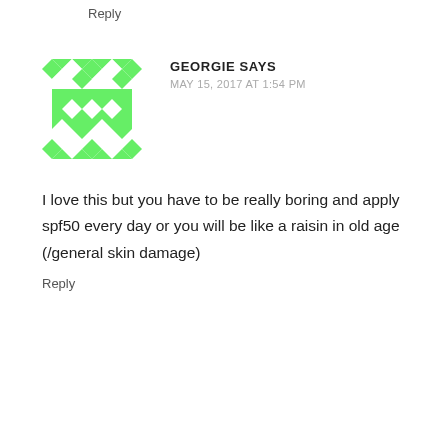Reply
[Figure (illustration): Green and white geometric avatar/icon for user Georgie, quilt-like pattern with diamond shapes in bright green and white]
GEORGIE SAYS
MAY 15, 2017 AT 1:54 PM
I love this but you have to be really boring and apply spf50 every day or you will be like a raisin in old age (/general skin damage)
Reply